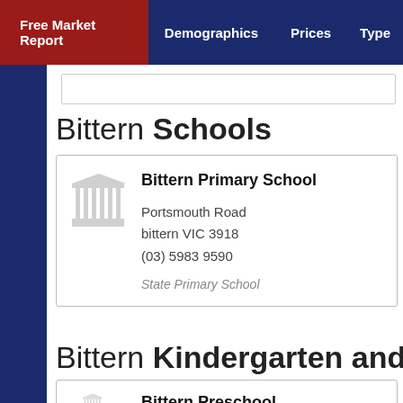Free Market Report | Demographics | Prices | Type
Bittern Schools
Bittern Primary School
Portsmouth Road
bittern VIC 3918
(03) 5983 9590
State Primary School
Bittern Kindergarten and Pr
Bittern Preschool